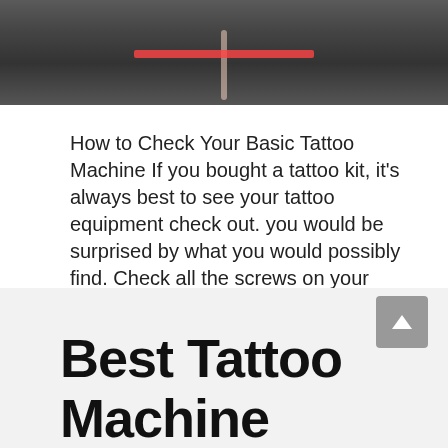[Figure (photo): Photo of a tattoo machine with a red/pink band around it, dark background]
How to Check Your Basic Tattoo Machine If you bought a tattoo kit, it's always best to see your tattoo equipment check out. you would be surprised by what you would possibly find. Check all the screws on your machine. Over time, vibration can cause those screws to loosen, which causes the faulty running of … Read more
Best Tattoo Machine